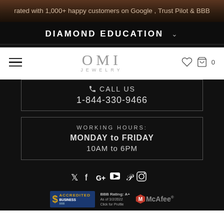rated with 1,000+ happy customers on Google , Trust Pilot & BBB
DIAMOND EDUCATION
[Figure (logo): OMI Jewelry logo with hamburger menu, heart icon, and shopping bag]
CALL US
1-844-330-9466
WORKING HOURS:
MONDAY to FRIDAY
10AM to 6PM
[Figure (other): Social media icons: Twitter, Facebook, Google+, YouTube, Pinterest, Instagram]
[Figure (other): BBB Accredited Business badge with Rating A+ and McAfee logo]